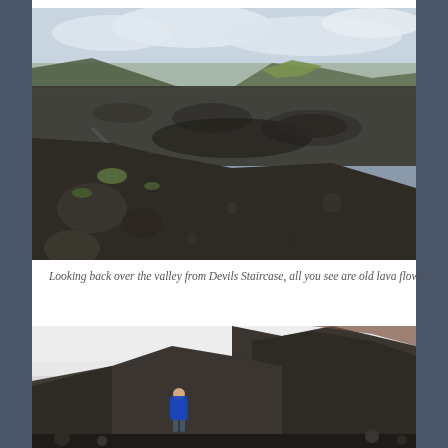[Figure (photo): Panoramic landscape photo looking back over a volcanic valley from Devils Staircase. The scene shows dark volcanic lava fields covering the valley floor, rocky terrain in the foreground with some green moss-covered boulders, distant rolling hills with patches of green and yellow grass, and a cloudy grey sky above.]
Looking back over the valley from Devils Staircase, all you see are old lava flow
[Figure (photo): Photo of a hiker with a blue backpack climbing up a steep dark volcanic lava rock ridge. The sky is overcast and white/grey. The foreground shows the rough dark rocky terrain of the ridge.]